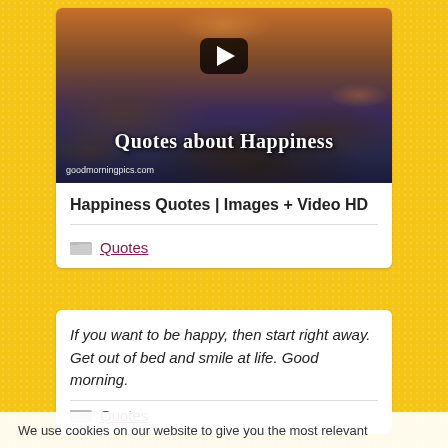[Figure (screenshot): Video thumbnail showing clouds and sunset sky with text 'Quotes about Happiness' and a YouTube-style play button. Watermark reads 'goodmorningpics.com'.]
Happiness Quotes | Images + Video HD
Quotes
If you want to be happy, then start right away. Get out of bed and smile at life. Good morning.
Quotes
We use cookies on our website to give you the most relevant